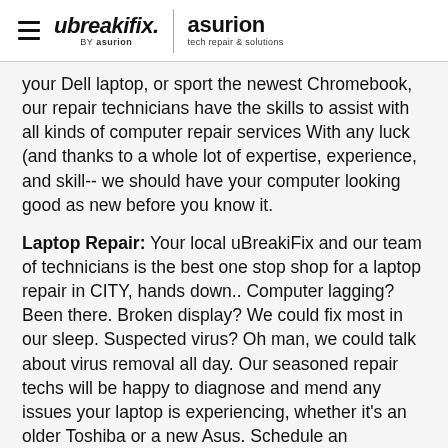ubreakifix. BY asurion | asurion tech repair & solutions
your Dell laptop, or sport the newest Chromebook, our repair technicians have the skills to assist with all kinds of computer repair services With any luck (and thanks to a whole lot of expertise, experience, and skill-- we should have your computer looking good as new before you know it.
Laptop Repair: Your local uBreakiFix and our team of technicians is the best one stop shop for a laptop repair in CITY, hands down.. Computer lagging? Been there. Broken display? We could fix most in our sleep. Suspected virus? Oh man, we could talk about virus removal all day. Our seasoned repair techs will be happy to diagnose and mend any issues your laptop is experiencing, whether it's an older Toshiba or a new Asus. Schedule an appointment today for your free